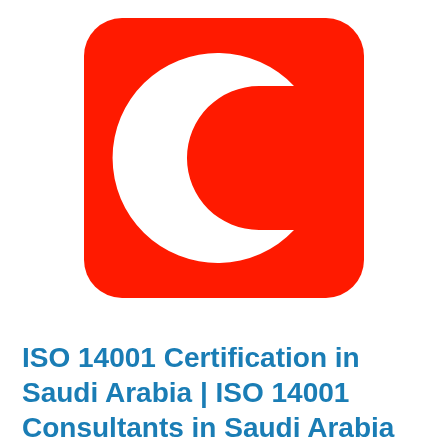[Figure (logo): Red rounded-square logo with a large white letter C in the center]
ISO 14001 Certification in Saudi Arabia | ISO 14001 Consultants in Saudi Arabia